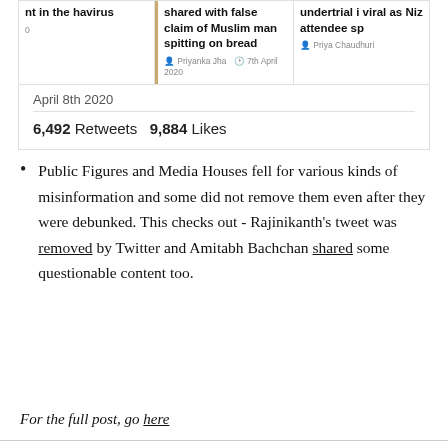[Figure (screenshot): Screenshot of a news article strip showing three news cards with headlines about COVID-19 misinformation, with date April 8th 2020 and tweet stats showing 6,492 Retweets and 9,884 Likes]
Public Figures and Media Houses fell for various kinds of misinformation and some did not remove them even after they were debunked. This checks out - Rajinikanth's tweet was removed by Twitter and Amitabh Bachchan shared some questionable content too.
For the full post, go here